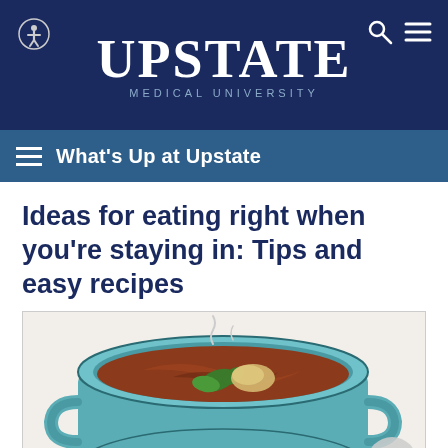Upstate Medical University
What's Up at Upstate
Ideas for eating right when you’re staying in: Tips and easy recipes
[Figure (illustration): Colorful illustration of a blue ceramic pot filled with stew or soup, showing vegetables and broth, viewed from slightly above.]